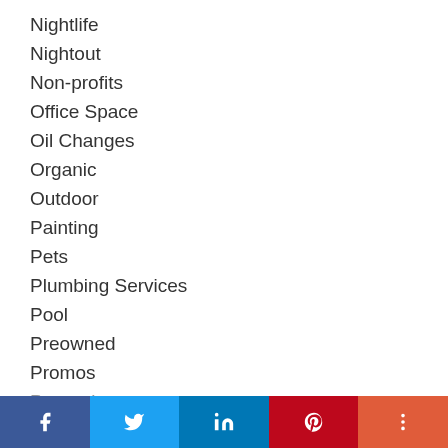Nightlife
Nightout
Non-profits
Office Space
Oil Changes
Organic
Outdoor
Painting
Pets
Plumbing Services
Pool
Preowned
Promos
Promotion